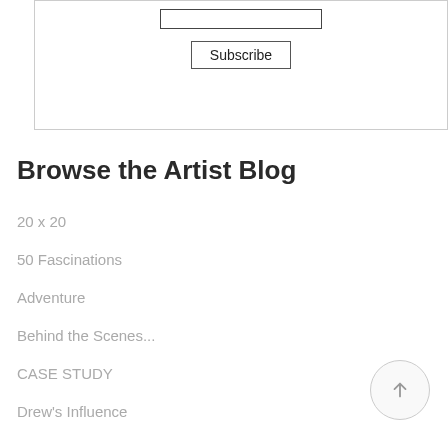[Figure (screenshot): A subscribe form box with a text input field and a Subscribe button, enclosed in a light gray border.]
Browse the Artist Blog
20 x 20
50 Fascinations
Adventure
Behind the Scenes...
CASE STUDY
Drew's Influence